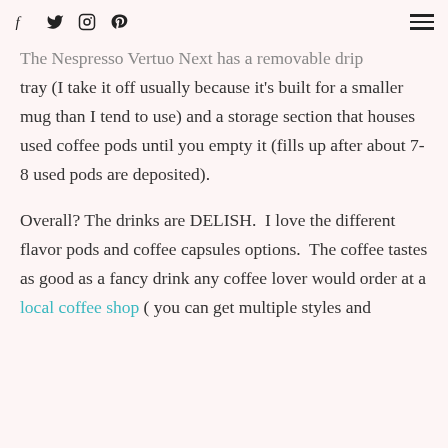Social icons: f, twitter, instagram, pinterest | Hamburger menu
The Nespresso Vertuo Next has a removable drip tray (I take it off usually because it's built for a smaller mug than I tend to use) and a storage section that houses used coffee pods until you empty it (fills up after about 7-8 used pods are deposited).
Overall? The drinks are DELISH.  I love the different flavor pods and coffee capsules options.  The coffee tastes as good as a fancy drink any coffee lover would order at a local coffee shop ( you can get multiple styles and